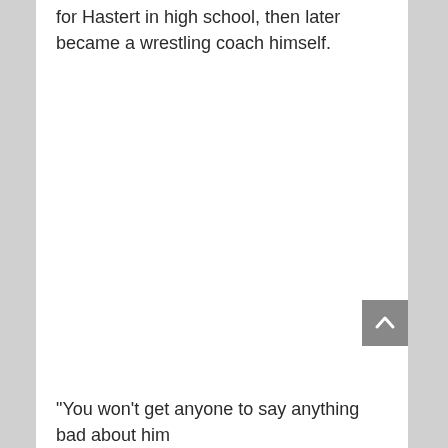for Hastert in high school, then later became a wrestling coach himself.
"You won't get anyone to say anything bad about him